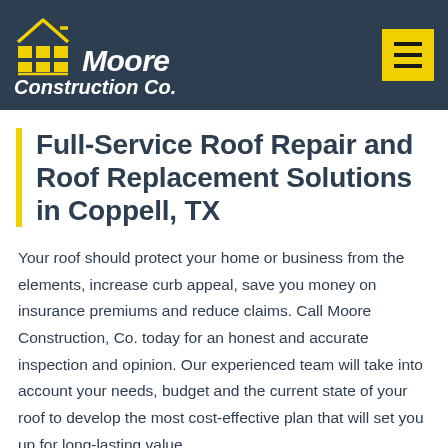[Figure (logo): Moore Construction Co. logo with yellow grid icon and house roofline on dark blue background]
Full-Service Roof Repair and Roof Replacement Solutions in Coppell, TX
Your roof should protect your home or business from the elements, increase curb appeal, save you money on insurance premiums and reduce claims. Call Moore Construction, Co. today for an honest and accurate inspection and opinion. Our experienced team will take into account your needs, budget and the current state of your roof to develop the most cost-effective plan that will set you up for long-lasting value.